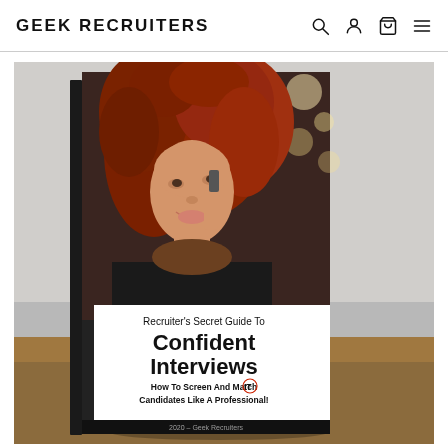GEEK RECRUITERS
[Figure (photo): A website screenshot showing the Geek Recruiters store header with logo and navigation icons (search, account, cart, menu). Below is a product photo of a physical book titled 'Recruiter's Secret Guide To Confident Interviews – How To Screen And Match IT Candidates Like A Professional!' by Geek Recruiters (2020). The book cover features a smiling woman with red curly hair holding a phone, standing in front of bokeh lights. The book label has the text in bold black on white background, with 'IT' circled in red.]